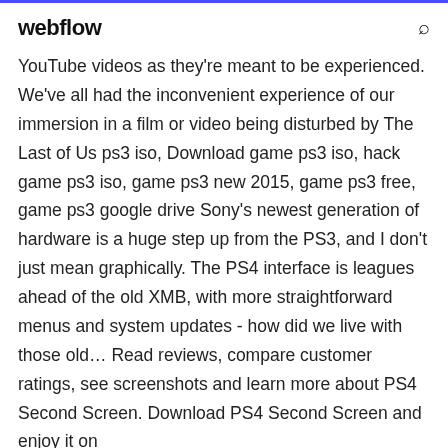webflow
YouTube videos as they're meant to be experienced. We've all had the inconvenient experience of our immersion in a film or video being disturbed by The Last of Us ps3 iso, Download game ps3 iso, hack game ps3 iso, game ps3 new 2015, game ps3 free, game ps3 google drive Sony's newest generation of hardware is a huge step up from the PS3, and I don't just mean graphically. The PS4 interface is leagues ahead of the old XMB, with more straightforward menus and system updates - how did we live with those old… Read reviews, compare customer ratings, see screenshots and learn more about PS4 Second Screen. Download PS4 Second Screen and enjoy it on